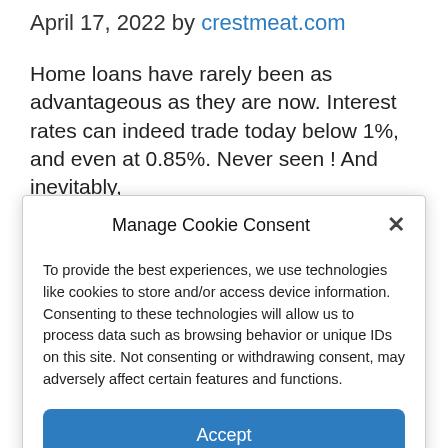April 17, 2022 by crestmeat.com
Home loans have rarely been as advantageous as they are now. Interest rates can indeed trade today below 1%, and even at 0.85%. Never seen ! And inevitably,
Manage Cookie Consent
To provide the best experiences, we use technologies like cookies to store and/or access device information. Consenting to these technologies will allow us to process data such as browsing behavior or unique IDs on this site. Not consenting or withdrawing consent, may adversely affect certain features and functions.
Accept
Cookie Policy